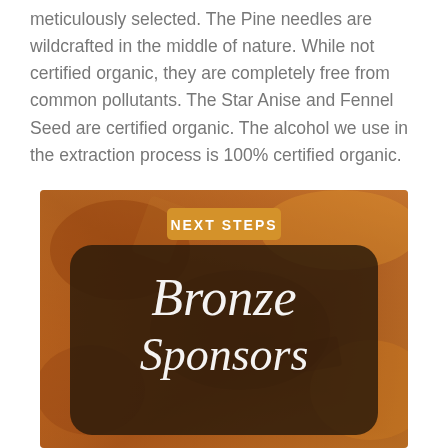meticulously selected. The Pine needles are wildcrafted in the middle of nature. While not certified organic, they are completely free from common pollutants. The Star Anise and Fennel Seed are certified organic. The alcohol we use in the extraction process is 100% certified organic.
[Figure (illustration): Bronze/rust-textured background with a dark rounded rectangle overlay. Text 'NEXT STEPS' in an orange badge at the top, and cursive white text reading 'Bronze Sponsors' overlaid on the dark shape.]